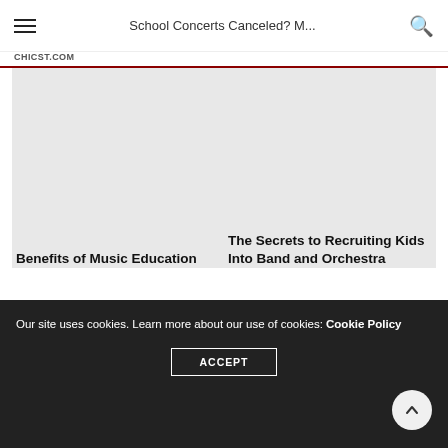School Concerts Canceled? M...
CHICST.COM
[Figure (photo): Image placeholder for Benefits of Music Education article]
Benefits of Music Education
[Figure (photo): Image placeholder for The Secrets to Recruiting Kids Into Band and Orchestra article]
The Secrets to Recruiting Kids Into Band and Orchestra
Our site uses cookies. Learn more about our use of cookies: Cookie Policy
ACCEPT